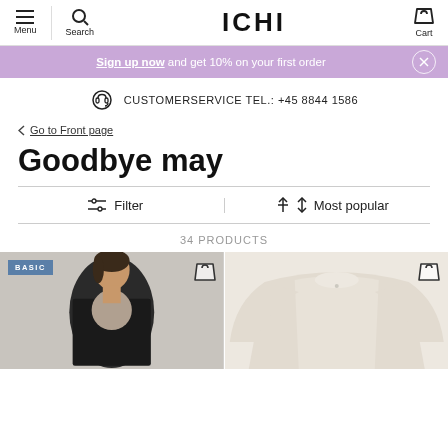Menu | Search | ICHI | Cart
Sign up now and get 10% on your first order
CUSTOMERSERVICE TEL.: +45 8844 1586
< Go to Front page
Goodbye may
Filter | Most popular
34 PRODUCTS
[Figure (photo): Two product images: left shows a woman in a black cardigan with a blue BASIC badge and cart icon, right shows a beige top with cart icon]